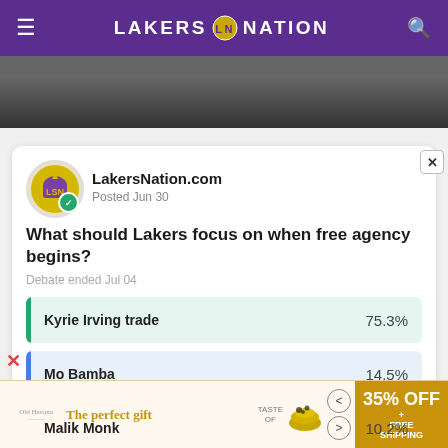LAKERS NATION
[Figure (photo): Partial photo of a person, dark background, shown behind the navigation bar]
LakersNation.com
Posted Jun 30
What should Lakers focus on when free agency begins?
Debate ended Jul 04
[Figure (bar-chart): What should Lakers focus on when free agency begins?]
[Figure (other): Advertisement banner: The perfect gift, 35% OFF + FREE SHIPPING]